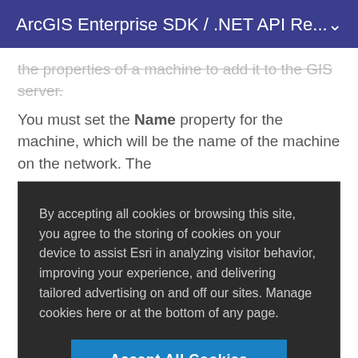ArcGIS Enterprise SDK / .NET API Re...
the properties of a machine to add it to the GIS server. You must set the Name property for the machine, which will be the name of the machine on the network. The
By accepting all cookies or browsing this site, you agree to the storing of cookies on your device to assist Esri in analyzing visitor behavior, improving your experience, and delivering tailored advertising on and off our sites. Manage cookies here or at the bottom of any page.
Accept All Cookies
Cookies Settings
Yes  No